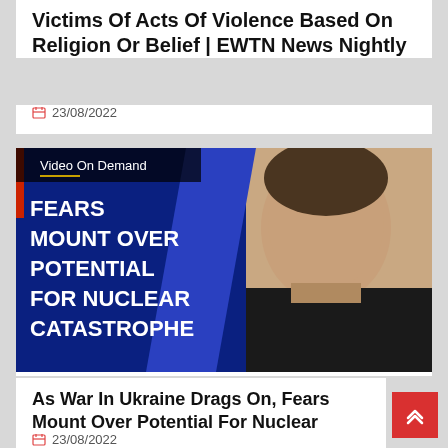Victims Of Acts Of Violence Based On Religion Or Belief | EWTN News Nightly
23/08/2022
[Figure (screenshot): Video thumbnail showing 'FEARS MOUNT OVER POTENTIAL FOR NUCLEAR CATASTROPHE' with a man in a black shirt on the right and 'Video On Demand' label at top left]
As War In Ukraine Drags On, Fears Mount Over Potential For Nuclear Catastrophe | EWTN News Nightly
23/08/2022